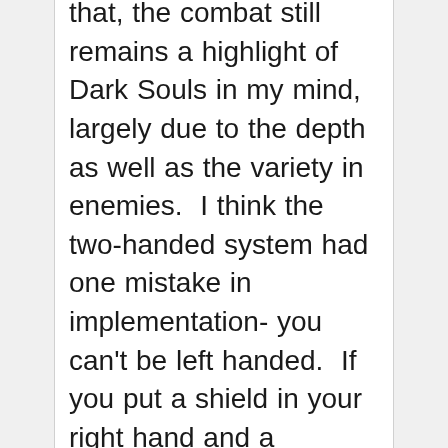that, the combat still remains a highlight of Dark Souls in my mind, largely due to the depth as well as the variety in enemies.  I think the two-handed system had one mistake in implementation- you can't be left handed.  If you put a shield in your right hand and a weapon in your left, the shield is used to attack...  Handedness could actually be extremely relevant in a game like Dark Souls, since I find certain attacks start punishing you for favoring rolling in the same direction every time.  The dark side of the gameplay is entirely localized within the sequences of the game that play like a platformer.  Each area between bonfires is the "level", and when your goal is to get from point A to point B,